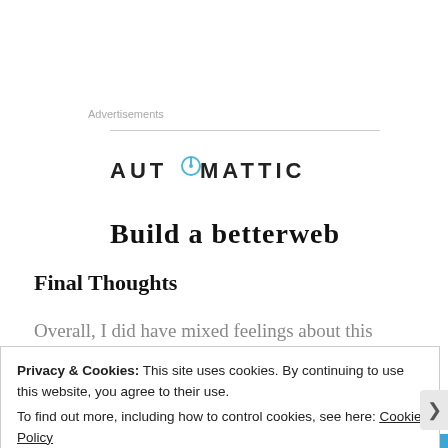Advertisements
[Figure (logo): Automattic logo with circular compass icon replacing the 'O', uppercase bold lettered text: AUTOMATTIC]
Build a betterweb
Final Thoughts
Overall, I did have mixed feelings about this novel.
Privacy & Cookies: This site uses cookies. By continuing to use this website, you agree to their use.
To find out more, including how to control cookies, see here: Cookie Policy
Close and accept